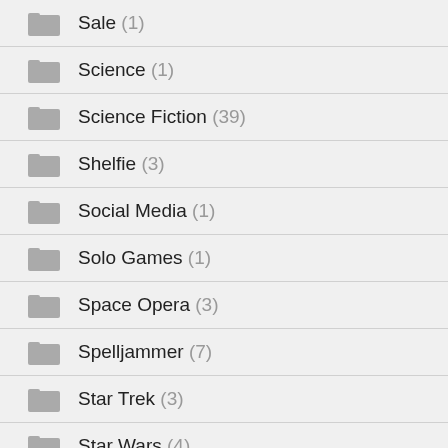Sale (1)
Science (1)
Science Fiction (39)
Shelfie (3)
Social Media (1)
Solo Games (1)
Space Opera (3)
Spelljammer (7)
Star Trek (3)
Star Wars (4)